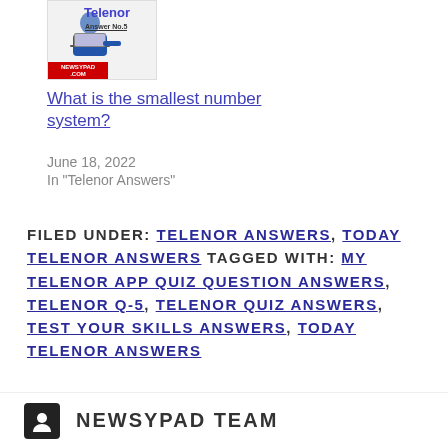[Figure (illustration): Telenor Answer No.5 logo with a person at a laptop and Newsypad.com label]
What is the smallest number system?
June 18, 2022
In "Telenor Answers"
FILED UNDER: TELENOR ANSWERS, TODAY TELENOR ANSWERS TAGGED WITH: MY TELENOR APP QUIZ QUESTION ANSWERS, TELENOR Q-5, TELENOR QUIZ ANSWERS, TEST YOUR SKILLS ANSWERS, TODAY TELENOR ANSWERS
[Figure (logo): Newsypad Team avatar icon (dark square with person icon) and NEWSYPAD TEAM text]